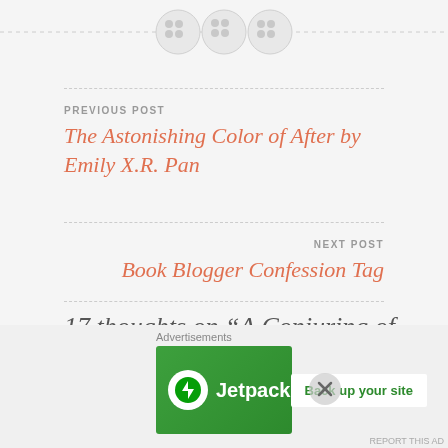[Figure (illustration): Three decorative button/circle icons on a horizontal dashed line at the top of the page]
PREVIOUS POST
The Astonishing Color of After by Emily X.R. Pan
NEXT POST
Book Blogger Confession Tag
17 thoughts on “A Conjuring of Light (Shades of Magic, #3) by V.E.
Advertisements
[Figure (screenshot): Jetpack advertisement banner with green background, Jetpack logo and 'Back up your site' button]